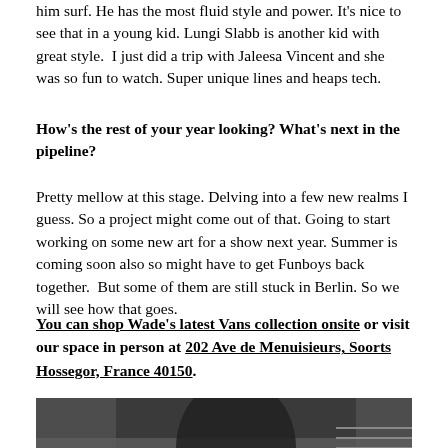him surf. He has the most fluid style and power. It's nice to see that in a young kid. Lungi Slabb is another kid with great style.  I just did a trip with Jaleesa Vincent and she was so fun to watch. Super unique lines and heaps tech.
How's the rest of your year looking? What's next in the pipeline?
Pretty mellow at this stage. Delving into a few new realms I guess. So a project might come out of that. Going to start working on some new art for a show next year. Summer is coming soon also so might have to get Funboys back together.  But some of them are still stuck in Berlin. So we will see how that goes.
You can shop Wade's latest Vans collection onsite or visit our space in person at 202 Ave de Menuisieurs, Soorts Hossegor, France 40150.
[Figure (photo): Close-up photo of a person's hands or torso against a car interior background, dark tones.]